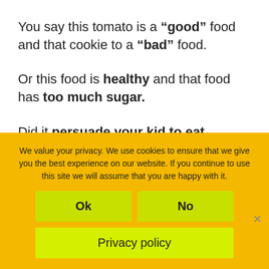You say this tomato is a “good” food and that cookie to a “bad” food.
Or this food is healthy and that food has too much sugar.
Did it persuade your kid to eat healthy?
We value your privacy. We use cookies to ensure that we give you the best experience on our website. If you continue to use this site we will assume that you are happy with it.